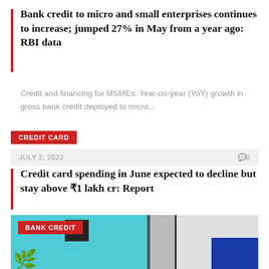Bank credit to micro and small enterprises continues to increase; jumped 27% in May from a year ago: RBI data
Credit and financing for MSMEs: Year-on-year (YoY) growth in gross bank credit deployed to micro…
CREDIT CARD
JULY 2, 2022    🗨0
Credit card spending in June expected to decline but stay above ₹1 lakh cr: Report
Industry-wide credit card spending remained higher ₹1 lakh crore mark for the third consecutive month…
BANK CREDIT
[Figure (photo): Exterior of building with teal/blue facade and windows, blue panel at bottom right, plant at lower left]